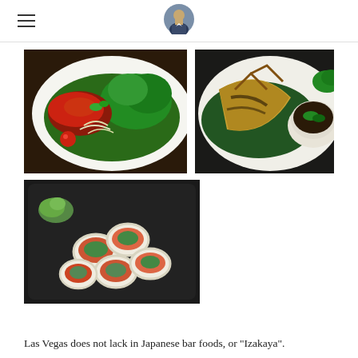Navigation header with hamburger menu and avatar
[Figure (photo): Three food photos arranged in a grid: top-left shows a meat and salad plate on a white dish with green leaves and a cherry tomato; top-right shows grilled fish on a green leaf with a white bowl of dark dipping sauce; bottom-left shows sushi rolls arranged on a dark plate with wasabi.]
Las Vegas does not lack in Japanese bar foods, or "Izakaya".